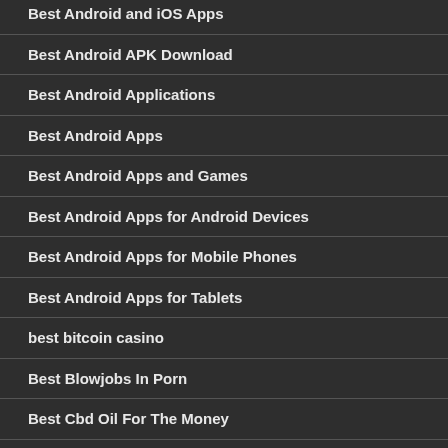Best Android and iOS Apps
Best Android APK Download
Best Android Applications
Best Android Apps
Best Android Apps and Games
Best Android Apps for Android Devices
Best Android Apps for Mobile Phones
Best Android Apps for Tablets
best bitcoin casino
Best Blowjobs In Porn
Best Cbd Oil For The Money
Best Cbd Vape Oil For Anxiety